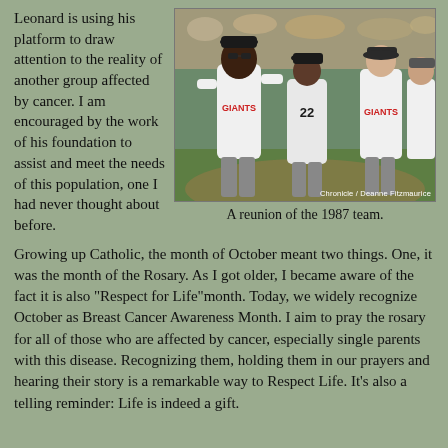Leonard is using his platform to draw attention to the reality of another group affected by cancer. I am encouraged by the work of his foundation to assist and meet the needs of this population, one I had never thought about before.
[Figure (photo): A reunion photo of the 1987 Giants baseball team on a baseball field, with players wearing white Giants jerseys.]
A reunion of the 1987 team.
Growing up Catholic, the month of October meant two things. One, it was the month of the Rosary. As I got older, I became aware of the fact it is also "Respect for Life"month. Today, we widely recognize October as Breast Cancer Awareness Month. I aim to pray the rosary for all of those who are affected by cancer, especially single parents with this disease. Recognizing them, holding them in our prayers and hearing their story is a remarkable way to Respect Life. It's also a telling reminder: Life is indeed a gift.